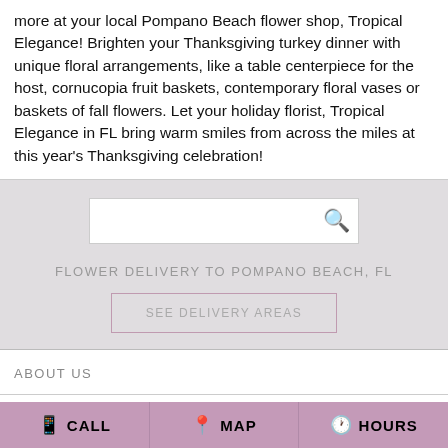more at your local Pompano Beach flower shop, Tropical Elegance! Brighten your Thanksgiving turkey dinner with unique floral arrangements, like a table centerpiece for the host, cornucopia fruit baskets, contemporary floral vases or baskets of fall flowers. Let your holiday florist, Tropical Elegance in FL bring warm smiles from across the miles at this year's Thanksgiving celebration!
[Figure (screenshot): Search box with magnifying glass icon on gray background]
FLOWER DELIVERY TO POMPANO BEACH, FL
SEE DELIVERY AREAS
ABOUT US
REVIEWS
CALL   MAP   HOURS